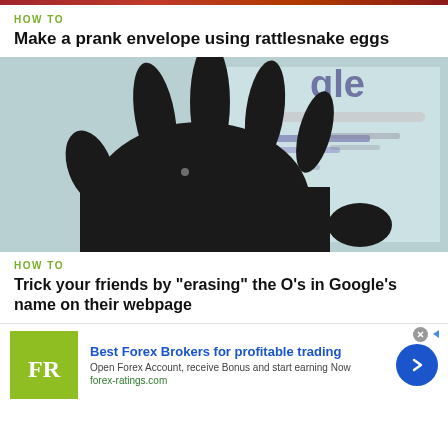HOW TO
Make a prank envelope using rattlesnake eggs
[Figure (photo): Silhouette of a hand in front of a computer screen displaying Google's webpage]
HOW TO
Trick your friends by "erasing" the O's in Google's name on their webpage
Best Forex Brokers for profitable trading
Open Forex Account, receive Bonus and start earning Now
forex-ratings.com